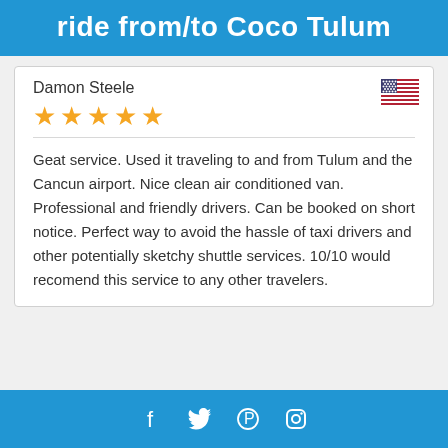ride from/to Coco Tulum
Damon Steele
[Figure (illustration): US flag icon in top right of review card]
★★★★★ (5 stars)
Geat service. Used it traveling to and from Tulum and the Cancun airport. Nice clean air conditioned van. Professional and friendly drivers. Can be booked on short notice. Perfect way to avoid the hassle of taxi drivers and other potentially sketchy shuttle services. 10/10 would recomend this service to any other travelers.
Social media icons: Facebook, Twitter, Pinterest, Instagram